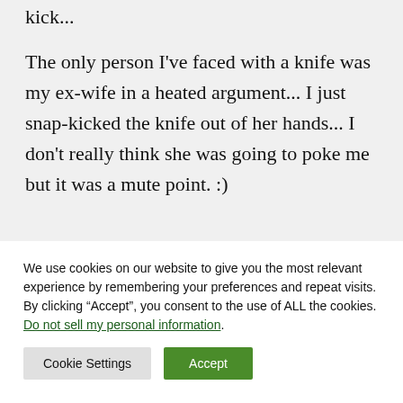kick...
The only person I've faced with a knife was my ex-wife in a heated argument... I just snap-kicked the knife out of her hands... I don't really think she was going to poke me but it was a mute point. :)
We use cookies on our website to give you the most relevant experience by remembering your preferences and repeat visits. By clicking “Accept”, you consent to the use of ALL the cookies.
Do not sell my personal information.
Cookie Settings
Accept